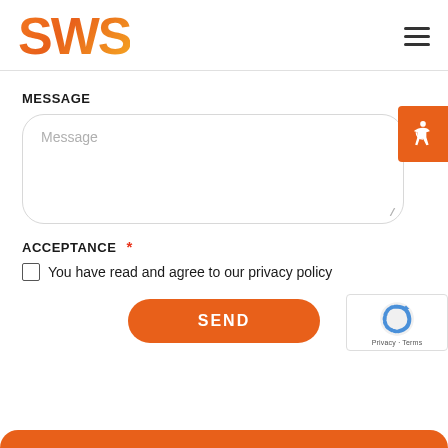[Figure (logo): SWS logo in orange gradient with hamburger menu icon on the right]
MESSAGE
Message (placeholder text in input field)
ACCEPTANCE *
You have read and agree to our privacy policy
SEND (button)
[Figure (screenshot): reCAPTCHA badge with Privacy and Terms links]